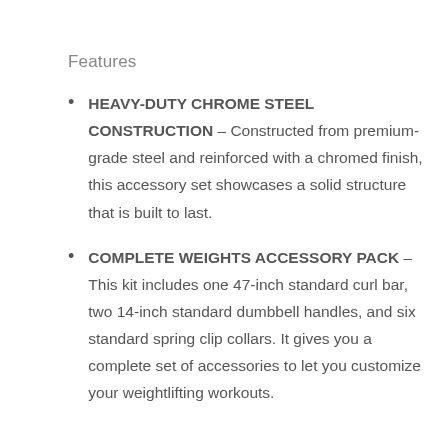Features
HEAVY-DUTY CHROME STEEL CONSTRUCTION – Constructed from premium-grade steel and reinforced with a chromed finish, this accessory set showcases a solid structure that is built to last.
COMPLETE WEIGHTS ACCESSORY PACK – This kit includes one 47-inch standard curl bar, two 14-inch standard dumbbell handles, and six standard spring clip collars. It gives you a complete set of accessories to let you customize your weightlifting workouts.